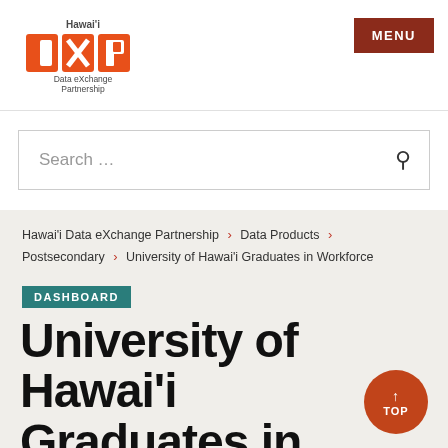[Figure (logo): Hawai'i Data eXchange Partnership (DXP) logo with orange and gray colors]
MENU
Search …
Hawai'i Data eXchange Partnership > Data Products > Postsecondary > University of Hawai'i Graduates in Workforce
DASHBOARD
University of Hawai'i Graduates in Workforce